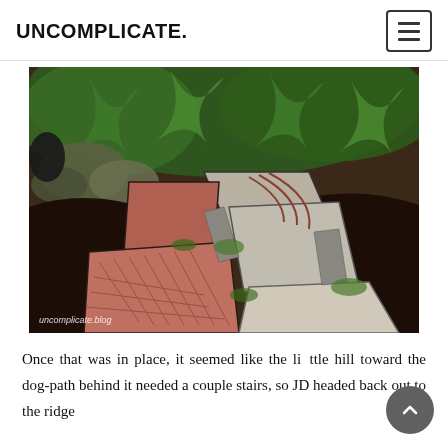UNCOMPLICATE.
[Figure (photo): A garden pathway made of mixed concrete pavers and brick tiles arranged in a mosaic pattern, surrounded by ferns, moss-covered rocks, and dark soil. Watermark reads 'uncomplicate.blog'.]
Once that was in place, it seemed like the little hill toward the dog-path behind it needed a couple stairs, so JD headed back out to the ridge